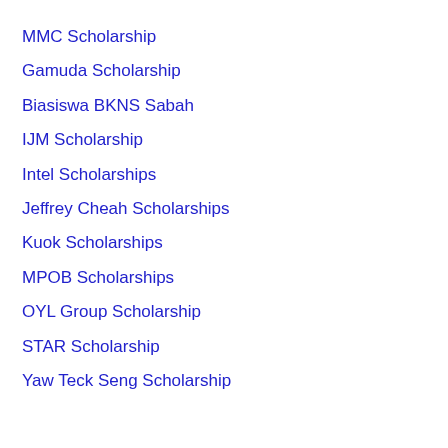MMC Scholarship
Gamuda Scholarship
Biasiswa BKNS Sabah
IJM Scholarship
Intel Scholarships
Jeffrey Cheah Scholarships
Kuok Scholarships
MPOB Scholarships
OYL Group Scholarship
STAR Scholarship
Yaw Teck Seng Scholarship